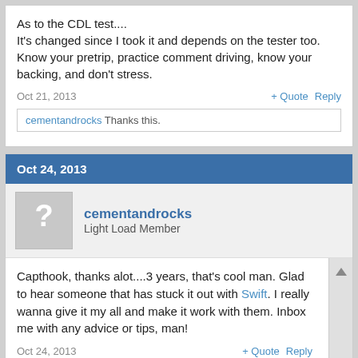As to the CDL test....
It's changed since I took it and depends on the tester too. Know your pretrip, practice comment driving, know your backing, and don't stress.
Oct 21, 2013
+ Quote  Reply
cementandrocks Thanks this.
Oct 24, 2013
cementandrocks
Light Load Member
Capthook, thanks alot....3 years, that's cool man. Glad to hear someone that has stuck it out with Swift. I really wanna give it my all and make it work with them. Inbox me with any advice or tips, man!
Oct 24, 2013
+ Quote  Reply